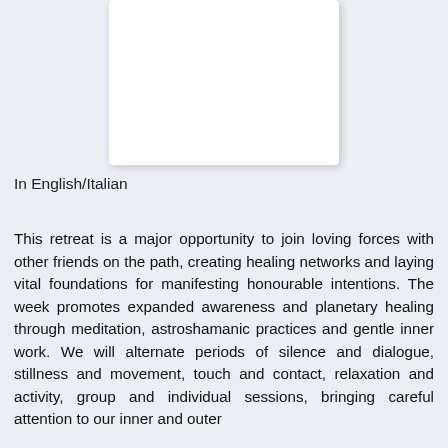[Figure (photo): White rectangular image placeholder area with shadow on a light blue-grey background]
In English/Italian
This retreat is a major opportunity to join loving forces with other friends on the path, creating healing networks and laying vital foundations for manifesting honourable intentions. The week promotes expanded awareness and planetary healing through meditation, astroshamanic practices and gentle inner work. We will alternate periods of silence and dialogue, stillness and movement, touch and contact, relaxation and activity, group and individual sessions, bringing careful attention to our inner and outer